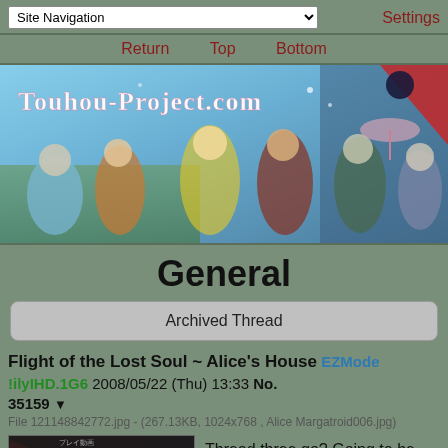Site Navigation | Settings
Return  Top  Bottom
[Figure (illustration): Touhou-Project.com banner with anime characters on blue sky background]
General
Archived Thread
Flight of the Lost Soul ~ Alice's House EZMode !ilyIHD.1G6 2008/05/22 (Thu) 13:33 No. 35159 ▼
File 121148842772.jpg - (267.13KB, 1024x768 , Alice Margatroid006.jpg)
[Figure (screenshot): Thumbnail of game/animation screenshot with red and blue abstract streaks]
Thread three go? Going to be leaving for a few minutes